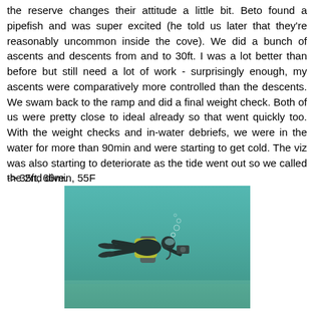the reserve changes their attitude a little bit. Beto found a pipefish and was super excited (he told us later that they're reasonably uncommon inside the cove). We did a bunch of ascents and descents from and to 30ft. I was a lot better than before but still need a lot of work - surprisingly enough, my ascents were comparatively more controlled than the descents. We swam back to the ramp and did a final weight check. Both of us were pretty close to ideal already so that went quickly too. With the weight checks and in-water debriefs, we were in the water for more than 90min and were starting to get cold. The viz was also starting to deteriorate as the tide went out so we called the 2nd dive.
-> 35ft, 66min, 55F
[Figure (photo): Underwater photo of a scuba diver swimming horizontally above a sandy bottom in greenish-tinted water, wearing a yellow and black buoyancy compensator with tanks and equipment visible.]